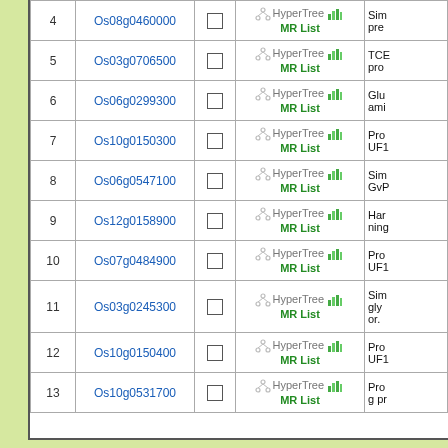| # | Gene ID |  | Links | Description |
| --- | --- | --- | --- | --- |
| 4 | Os08g0460000 | ☐ | HyperTree MR List | Sim... pre... |
| 5 | Os03g0706500 | ☐ | HyperTree MR List | TCE... pro... |
| 6 | Os06g0299300 | ☐ | HyperTree MR List | Glu... ami... |
| 7 | Os10g0150300 | ☐ | HyperTree MR List | Pro... UF1... |
| 8 | Os06g0547100 | ☐ | HyperTree MR List | Sim... GvP... |
| 9 | Os12g0158900 | ☐ | HyperTree MR List | Har... ning... |
| 10 | Os07g0484900 | ☐ | HyperTree MR List | Pro... UF1... |
| 11 | Os03g0245300 | ☐ | HyperTree MR List | Sim... gly... or. |
| 12 | Os10g0150400 | ☐ | HyperTree MR List | Pro... UF1... |
| 13 | Os10g0531700 | ☐ | HyperTree MR List | Pro... g pr... |